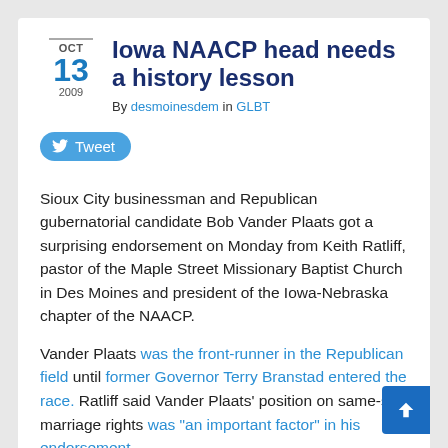Iowa NAACP head needs a history lesson
By desmoinesdem in GLBT
Tweet
Sioux City businessman and Republican gubernatorial candidate Bob Vander Plaats got a surprising endorsement on Monday from Keith Ratliff, pastor of the Maple Street Missionary Baptist Church in Des Moines and president of the Iowa-Nebraska chapter of the NAACP.
Vander Plaats was the front-runner in the Republican field until former Governor Terry Branstad entered the race. Ratliff said Vander Plaats' position on same-sex marriage rights was "an important factor" in his endorsement.